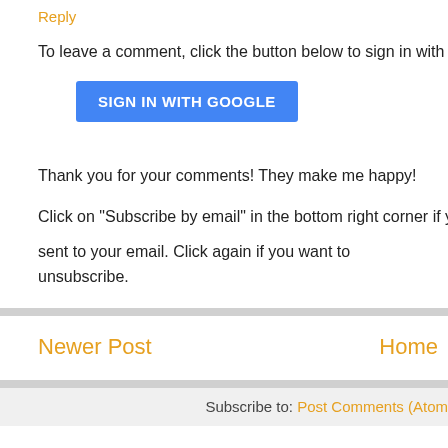Reply
To leave a comment, click the button below to sign in with
[Figure (other): SIGN IN WITH GOOGLE button (blue rounded rectangle)]
Thank you for your comments! They make me happy!
Click on "Subscribe by email" in the bottom right corner if you want comments sent to your email. Click again if you want to unsubscribe.
Note: Only a member of this blog may post a comment.
Newer Post
Home
Subscribe to: Post Comments (Atom)